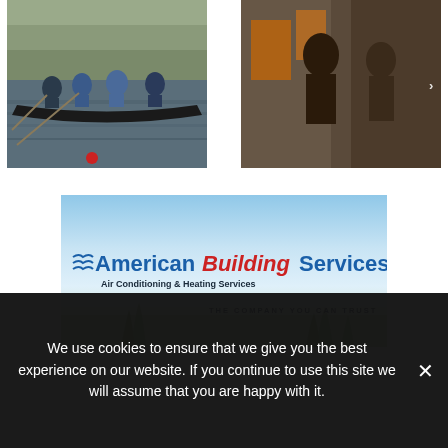[Figure (photo): Photo of rowers in a racing boat on water]
[Figure (photo): Photo of people on a city street/storefront with orange and brown tones]
[Figure (logo): American Building Services advertisement banner with sky/grass background. Logo reads 'American Building Services - Air Conditioning & Heating Services'. Tagline: 'THE COMPANY YOU CAN TRUST']
We use cookies to ensure that we give you the best experience on our website. If you continue to use this site we will assume that you are happy with it.